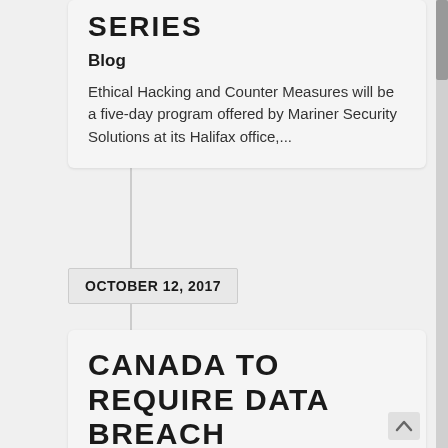SERIES
Blog
Ethical Hacking and Counter Measures will be a five-day program offered by Mariner Security Solutions at its Halifax office,...
OCTOBER 12, 2017
CANADA TO REQUIRE DATA BREACH REPORTING
Blog